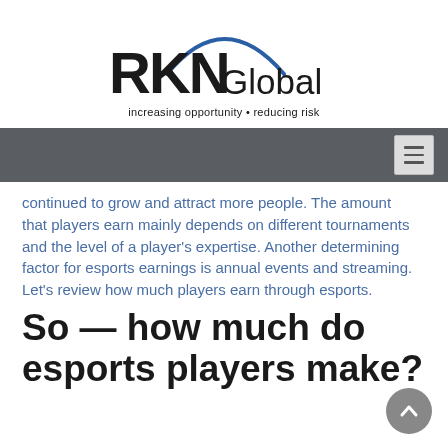[Figure (logo): RKN Global logo with blue arc above text and tagline 'increasing opportunity • reducing risk']
continued to grow and attract more people. The amount that players earn mainly depends on different tournaments and the level of a player's expertise. Another determining factor for esports earnings is annual events and streaming. Let's review how much players earn through esports.
So — how much do esports players make?